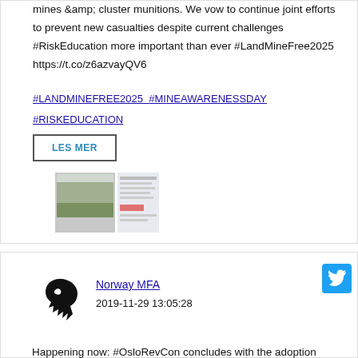mines &amp; cluster munitions. We vow to continue joint efforts to prevent new casualties despite current challenges #RiskEducation more important than ever #LandMineFree2025 https://t.co/z6azvayQV6
#LANDMINEFREE2025  #MINEAWARENESSDAY
#RISKEDUCATION
LES MER
[Figure (screenshot): Thumbnail screenshot of a tweet with an image of a field/landscape]
[Figure (logo): Twitter bird icon in blue square]
[Figure (logo): Norway MFA lion coat of arms logo]
Norway MFA
2019-11-29 13:05:28
Happening now: #OsloRevCon concludes with the adoption